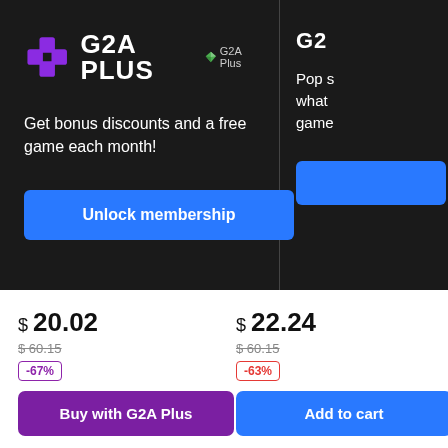[Figure (logo): G2A Plus logo with purple plus icon and white bold text 'G2A PLUS', with a small diamond badge labeled 'G2A Plus']
Get bonus discounts and a free game each month!
Unlock membership
Pop s... what... game...
$ 20.02
$ 60.15
-67%
Buy with G2A Plus
$ 22.24
$ 60.15
-63%
Add to cart